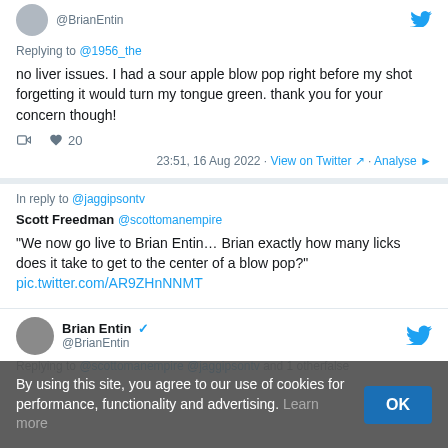Replying to @1956_the
no liver issues. I had a sour apple blow pop right before my shot forgetting it would turn my tongue green. thank you for your concern though!
20
23:51, 16 Aug 2022 · View on Twitter · Analyse
In reply to @jaggipsontv
Scott Freedman @scottomanempire
"We now go live to Brian Entin… Brian exactly how many licks does it take to get to the center of a blow pop?" pic.twitter.com/AR9ZHnNNMT
Brian Entin @BrianEntin
Replying to @scottomanempire @jaggipsontv and 1 otherfalse
By using this site, you agree to our use of cookies for performance, functionality and advertising. Learn more OK